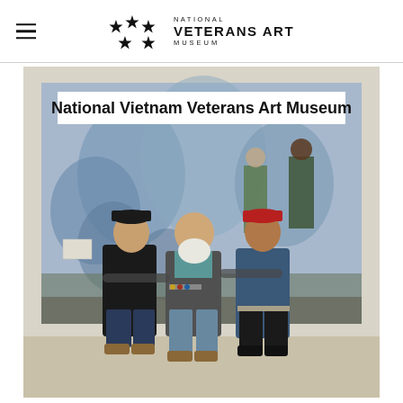National Veterans Art Museum
[Figure (photo): Three men standing in front of a large painting banner that reads 'National Vietnam Veterans Art Museum'. The painting depicts soldiers in a landscape. Left man wears a military-style bomber jacket and cap with insignia. Center man has a white beard, wears a gray blazer with military medals, and a teal shirt. Right man wears a red cap and blue button-down shirt. All three are smiling.]